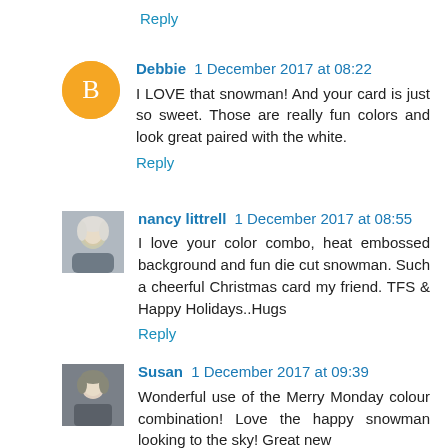Reply
Debbie 1 December 2017 at 08:22
I LOVE that snowman! And your card is just so sweet. Those are really fun colors and look great paired with the white.
Reply
nancy littrell 1 December 2017 at 08:55
I love your color combo, heat embossed background and fun die cut snowman. Such a cheerful Christmas card my friend. TFS & Happy Holidays..Hugs
Reply
Susan 1 December 2017 at 09:39
Wonderful use of the Merry Monday colour combination! Love the happy snowman looking to the sky! Great new